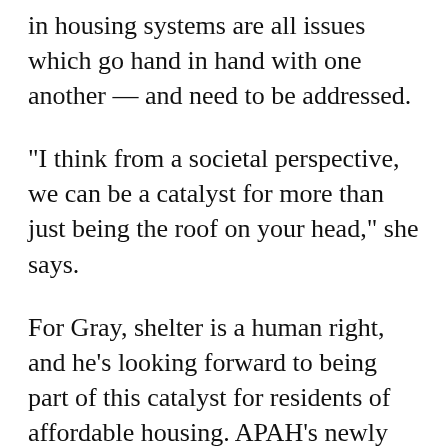in housing systems are all issues which go hand in hand with one another — and need to be addressed.
“I think from a societal perspective, we can be a catalyst for more than just being the roof on your head,” she says.
For Gray, shelter is a human right, and he’s looking forward to being part of this catalyst for residents of affordable housing. APAH’s newly developed Resident Council, of which Gray is a part, is how he plans to make a difference.
Throughout the years, Gray says that APAH has provided healthcare fairs to residents of its properties, and now which he also...